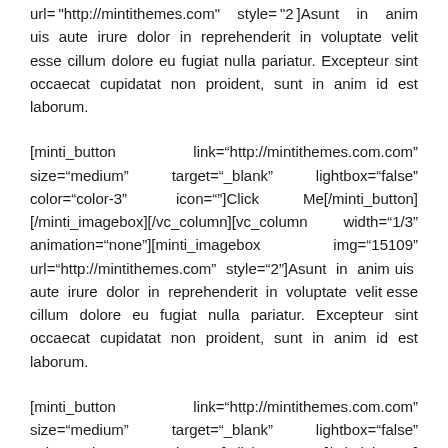url="http://mintithemes.com" style="2"]Asunt in anim uis aute irure dolor in reprehenderit in voluptate velit esse cillum dolore eu fugiat nulla pariatur. Excepteur sint occaecat cupidatat non proident, sunt in anim id est laborum.
[minti_button link="http://mintithemes.com.com" size="medium" target="_blank" lightbox="false" color="color-3" icon=""]Click Me[/minti_button][/minti_imagebox][/vc_column][vc_column width="1/3" animation="none"][minti_imagebox img="15109" url="http://mintithemes.com" style="2"]Asunt in anim uis aute irure dolor in reprehenderit in voluptate velit esse cillum dolore eu fugiat nulla pariatur. Excepteur sint occaecat cupidatat non proident, sunt in anim id est laborum.
[minti_button link="http://mintithemes.com.com" size="medium" target="_blank" lightbox="false" color="color-3" icon=""]Click Me[/minti_button][/minti_imagebox][/vc_column][/vc_row]